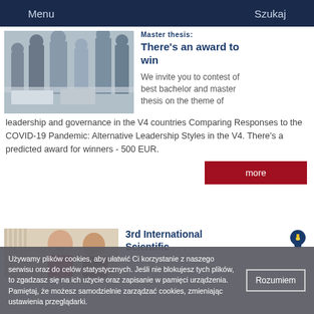Menu  Szukaj
[Figure (photo): Group of business people standing around a table with laptops and documents, office environment]
There's an award to win
We invite you to contest of best bachelor and master thesis on the theme of leadership and governance in the V4 countries Comparing Responses to the COVID-19 Pandemic: Alternative Leadership Styles in the V4. There's a predicted award for winners - 500 EUR.
more
[Figure (photo): Two smiling women, partial view of upper bodies]
3rd International Scientific
Używamy plików cookies, aby ułatwić Ci korzystanie z naszego serwisu oraz do celów statystycznych. Jeśli nie blokujesz tych plików, to zgadzasz się na ich użycie oraz zapisanie w pamięci urządzenia. Pamiętaj, że możesz samodzielnie zarządzać cookies, zmieniając ustawienia przeglądarki.
Rozumiem